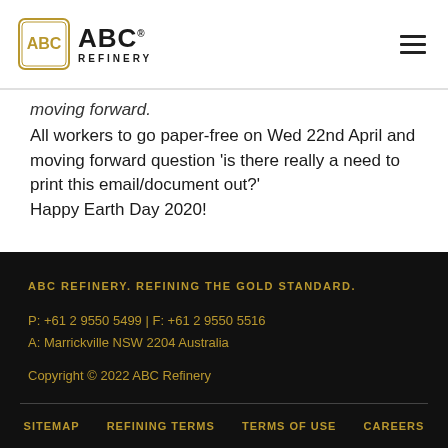ABC REFINERY
moving forward. All workers to go paper-free on Wed 22nd April and moving forward question 'is there really a need to print this email/document out?' Happy Earth Day 2020!
ABC REFINERY. REFINING THE GOLD STANDARD.
P: +61 2 9550 5499 | F: +61 2 9550 5516
A: Marrickville NSW 2204 Australia
Copyright © 2022 ABC Refinery
SITEMAP  REFINING TERMS  TERMS OF USE  CAREERS